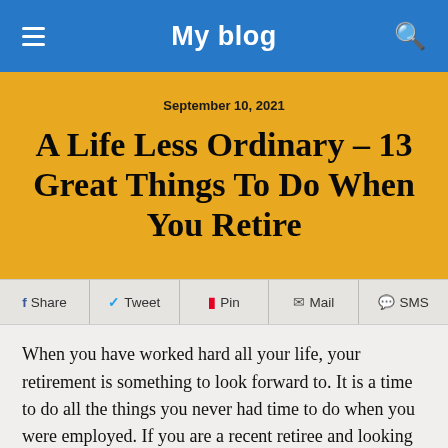My blog
September 10, 2021
A Life Less Ordinary – 13 Great Things To Do When You Retire
Share  Tweet  Pin  Mail  SMS
When you have worked hard all your life, your retirement is something to look forward to. It is a time to do all the things you never had time to do when you were employed. If you are a recent retiree and looking for ideas on how to spend your spare time, here are 13 great things to do when you retire.